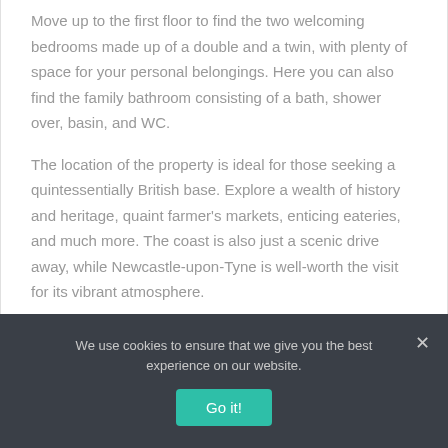Move up to the first floor to find the two welcoming bedrooms made up of a double and a twin, with plenty of space for your personal belongings. Here you can also find the family bathroom consisting of a bath, shower over, basin, and WC.
The location of the property is ideal for those seeking a quintessentially British base. Explore a wealth of history and heritage, quaint farmer's markets, enticing eateries, and much more. The coast is also just a scenic drive away, while Newcastle-upon-Tyne is well-worth the visit for its vibrant atmosphere.
A stay at 4 Wheatsheaf Yard offers a wonderful way to
We use cookies to ensure that we give you the best experience on our website.